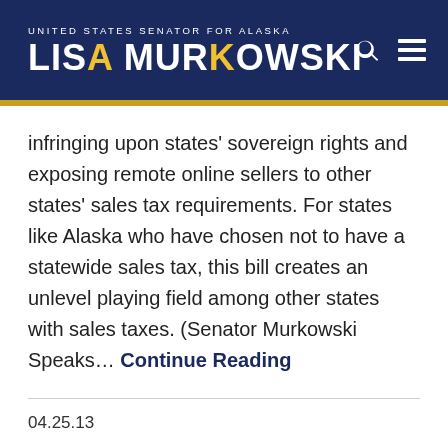UNITED STATES SENATOR FOR ALASKA — LISA MURKOWSKI
infringing upon states' sovereign rights and exposing remote online sellers to other states' sales tax requirements. For states like Alaska who have chosen not to have a statewide sales tax, this bill creates an unlevel playing field among other states with sales taxes. (Senator Murkowski Speaks... Continue Reading
04.25.13
Alaska Senators Rally Over